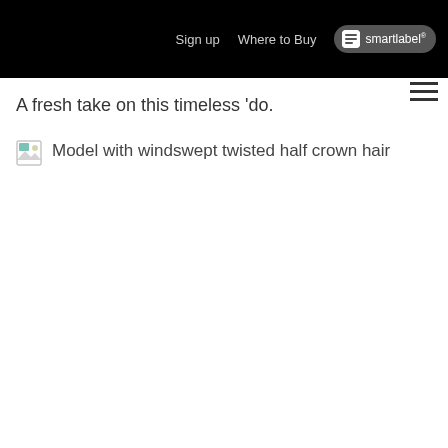Sign up  Where to Buy  smartlabel
A fresh take on this timeless 'do.
[Figure (photo): Broken image placeholder with alt text: Model with windswept twisted half crown hair]